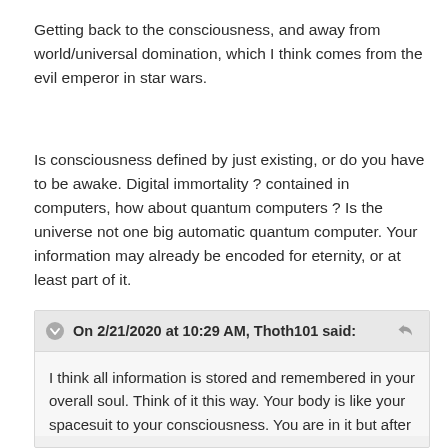Getting back to the consciousness, and away from world/universal domination, which I think comes from the evil emperor in star wars.
Is consciousness defined by just existing, or do you have to be awake. Digital immortality ? contained in computers, how about quantum computers ? Is the universe not one big automatic quantum computer. Your information may already be encoded for eternity, or at least part of it.
On 2/21/2020 at 10:29 AM, Thoth101 said:
I think all information is stored and remembered in your overall soul. Think of it this way. Your body is like your spacesuit to your consciousness. You are in it but after